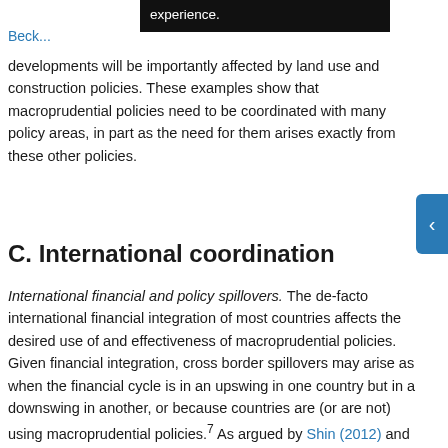experience.
Beck...
developments will be importantly affected by land use and construction policies. These examples show that macroprudential policies need to be coordinated with many policy areas, in part as the need for them arises exactly from these other policies.
C. International coordination
International financial and policy spillovers. The de-facto international financial integration of most countries affects the desired use of and effectiveness of macroprudential policies. Given financial integration, cross border spillovers may arise as when the financial cycle is in an upswing in one country but in a downswing in another, or because countries are (or are not) using macroprudential policies.7 As argued by Shin (2012) and shown by Rey (2013) and others, there is much commonality to financial cycles globally, suggesting policies are naturally coordinated. The cycle appears largely driven by conditions in major advanced countries, however, and it is thus not obvious that the commonality itself or addressing it from the major